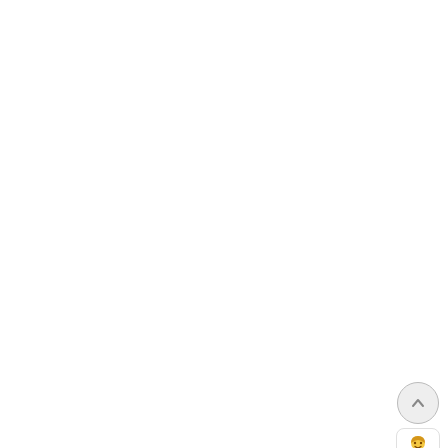ACCURATE TRANSLATIONS
[Figure (infographic): WhatsApp 'Request quote' chat bubble button with green background, WhatsApp logo icon on left, white text 'Request quote', with a downward speech bubble tail and a chat avatar widget below]